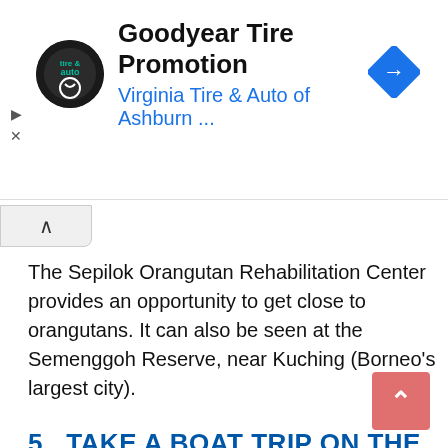[Figure (screenshot): Advertisement banner for Goodyear Tire Promotion by Virginia Tire & Auto of Ashburn with logo and navigation arrow icon]
The Sepilok Orangutan Rehabilitation Center provides an opportunity to get close to orangutans. It can also be seen at the Semenggoh Reserve, near Kuching (Borneo's largest city).
5. TAKE A BOAT TRIP ON THE KINABATANGAN RIVER